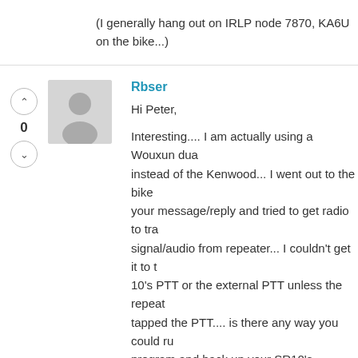(I generally hang out on IRLP node 7870, KA6U... on the bike...)
Rbser
Hi Peter,
Interesting.... I am actually using a Wouxun dua... instead of the Kenwood... I went out to the bike... your message/reply and tried to get radio to tra... signal/audio from repeater... I couldn't get it to t... 10's PTT or the external PTT unless the repeat... tapped the PTT.... is there any way you could ru... program and back up your SR10's firmware and... to me???? maybe there is a difference in our S... am stumped at figuring out why your SR-10 wo...